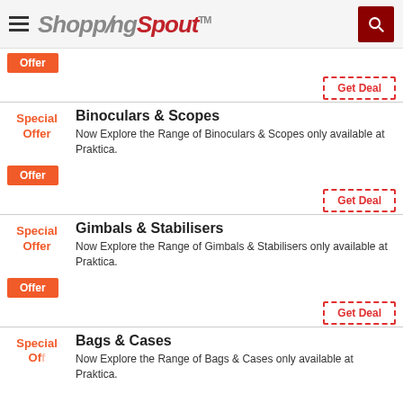ShoppingSpout™
Offer
Get Deal
Special Offer
Binoculars & Scopes
Now Explore the Range of Binoculars & Scopes only available at Praktica.
Offer
Get Deal
Special Offer
Gimbals & Stabilisers
Now Explore the Range of Gimbals & Stabilisers only available at Praktica.
Offer
Get Deal
Special Offer
Bags & Cases
Now Explore the Range of Bags & Cases only available at Praktica.